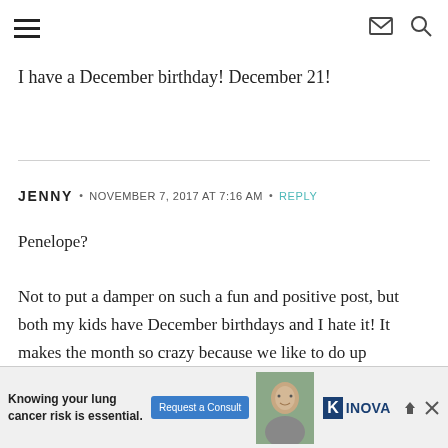navigation header with hamburger menu, envelope icon, and search icon
I have a December birthday! December 21!
JENNY • NOVEMBER 7, 2017 AT 7:16 AM • REPLY
Penelope?

Not to put a damper on such a fun and positive post, but both my kids have December birthdays and I hate it! It makes the month so crazy because we like to do up Christmas in a big way. We have a small celebration
[Figure (other): Advertisement banner for INOVA lung cancer risk consultation with photo of older man and 'Request a Consult' button. Text: 'Knowing your lung cancer risk is essential.']